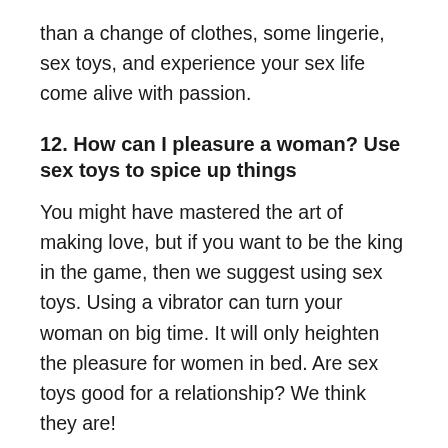than a change of clothes, some lingerie, sex toys, and experience your sex life come alive with passion.
12. How can I pleasure a woman? Use sex toys to spice up things
You might have mastered the art of making love, but if you want to be the king in the game, then we suggest using sex toys. Using a vibrator can turn your woman on big time. It will only heighten the pleasure for women in bed. Are sex toys good for a relationship? We think they are!